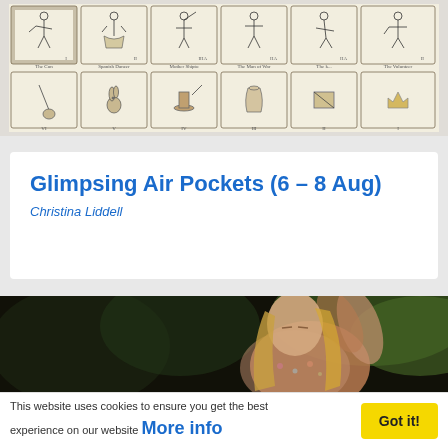[Figure (illustration): Antique engraving sheet showing rows of costumed figures in ornate bordered panels, arranged in a grid format resembling historical playing cards or character cards.]
Glimpsing Air Pockets (6 – 8 Aug)
Christina Liddell
[Figure (photo): A young woman with long blonde hair leaning against a tree or natural background, wearing a floral patterned top, eyes closed, surrounded by greenery.]
This website uses cookies to ensure you get the best experience on our website More info
Got it!